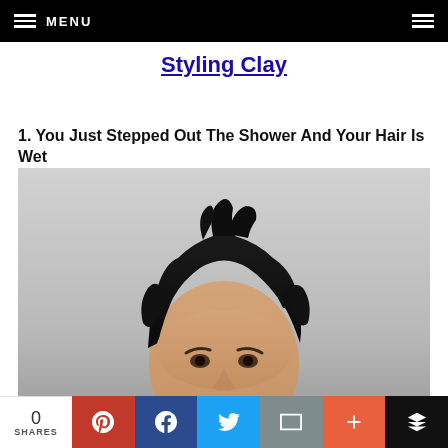MENU
Styling Clay
1. You Just Stepped Out The Shower And Your Hair Is Wet
[Figure (photo): Photo of a young man with dark styled hair against a grey background, showing the top half of his head and face.]
0 SHARES